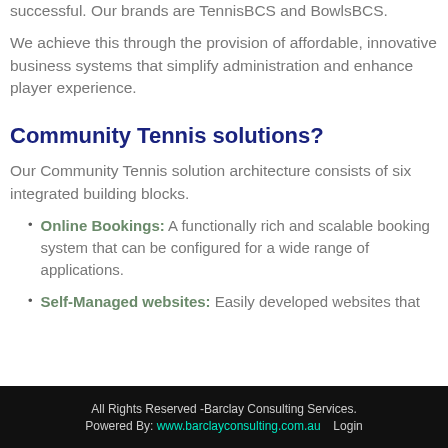successful. Our brands are TennisBCS and BowlsBCS.
We achieve this through the provision of affordable, innovative business systems that simplify administration and enhance player experience.
Community Tennis solutions?
Our Community Tennis solution architecture consists of six integrated building blocks.
Online Bookings: A functionally rich and scalable booking system that can be configured for a wide range of applications.
Self-Managed websites: Easily developed websites that integrate with the other building blocks to provide a rich...
All Rights Reserved -Barclay Consulting Services. Powered By: www.barclayconsulting.com.au  Login